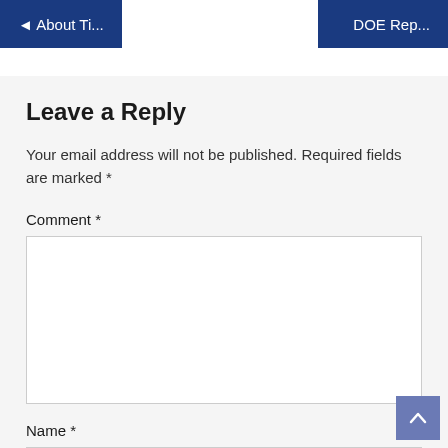◄ About Ti...
DOE Rep...
Leave a Reply
Your email address will not be published. Required fields are marked *
Comment *
Name *